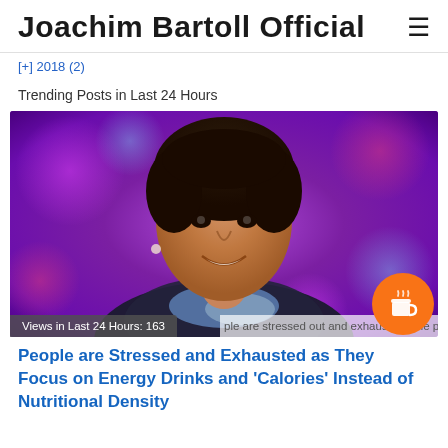Joachim Bartoll Official
[+] 2018 (2)
Trending Posts in Last 24 Hours
[Figure (photo): Portrait photo of a smiling woman with short dark hair against a purple/violet bokeh background. She is wearing a dark jacket and a patterned scarf.]
Views in Last 24 Hours: 163   ...ple are stressed out and exhausted. The post
People are Stressed and Exhausted as They Focus on Energy Drinks and 'Calories' Instead of Nutritional Density